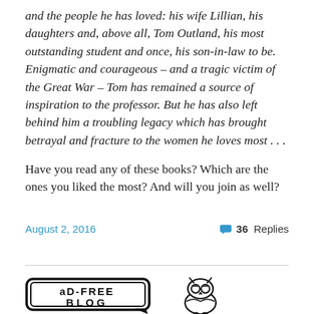and the people he has loved: his wife Lillian, his daughters and, above all, Tom Outland, his most outstanding student and once, his son-in-law to be. Enigmatic and courageous – and a tragic victim of the Great War – Tom has remained a source of inspiration to the professor. But he has also left behind him a troubling legacy which has brought betrayal and fracture to the women he loves most . . .
Have you read any of these books? Which are the ones you liked the most? And will you join as well?
August 2, 2016
36 Replies
[Figure (logo): Ad-free blog badge with speech bubble and owl illustration]